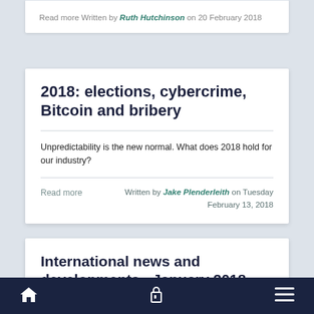Read more Written by Ruth Hutchinson on 20 February 2018
2018: elections, cybercrime, Bitcoin and bribery
Unpredictability is the new normal. What does 2018 hold for our industry?
Read more Written by Jake Plenderleith on Tuesday February 13, 2018
International news and developments - January 2018
Home | Lock | Menu